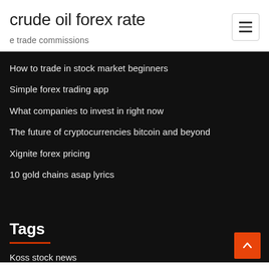crude oil forex rate
e trade commissions
How to trade in stock market beginners
Simple forex trading app
What companies to invest in right now
The future of cryptocurrencies bitcoin and beyond
Xignite forex pricing
10 gold chains asap lyrics
Tags
Koss stock news